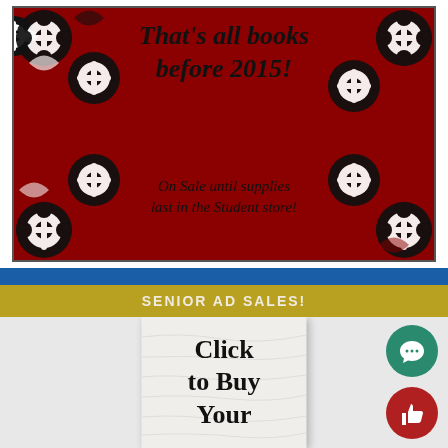[Figure (infographic): Red and black damask-patterned promotional banner with italic bold text reading 'That's all books before 2015!' and smaller text 'On Sale until supplies last in the Student store!']
SENIOR AD SALES!
[Figure (infographic): Gray/white background with crinkled paper texture showing text 'Click to Buy Your' in large bold serif font, with green chat icon and red thumbs-up icon overlaid on the right side]